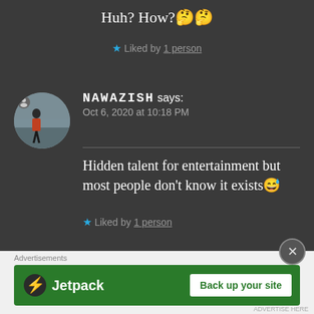Huh? How? 🤔🤔
★ Liked by 1 person
NAWAZISH says: Oct 6, 2020 at 10:18 PM
Hidden talent for entertainment but most people don't know it exists😅
★ Liked by 1 person
Advertisements
[Figure (logo): Jetpack advertisement banner with logo and 'Back up your site' button]